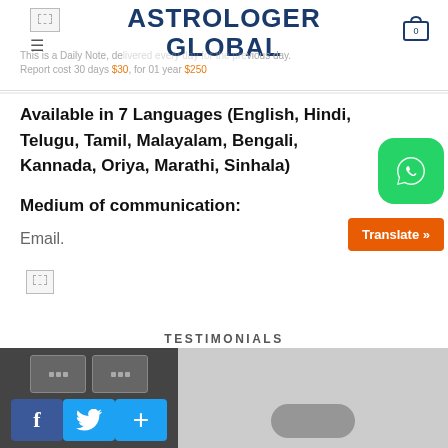ASTROLOGER GLOBAL
This is a Daily Note, delivered every day for the previous day. Report cost 30 days $30, for 01 year $250
Available in 7 Languages (English, Hindi, Telugu, Tamil, Malayalam, Bengali, Kannada, Oriya, Marathi, Sinhala)
Medium of communication:
Email.
[Figure (screenshot): Broken image placeholder]
TESTIMONIALS
[Figure (screenshot): Video testimonials strip with social share buttons (Facebook, Twitter, Plus) at the bottom left, and a video thumbnail on the right]